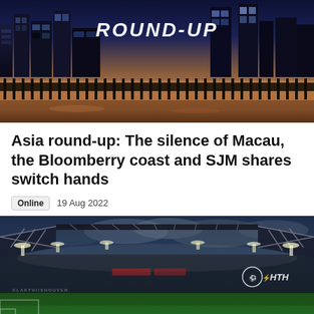[Figure (photo): Night cityscape of Macau with illuminated skyline, waterfront, and bridge, with 'ROUND-UP' text overlay]
Asia round-up: The silence of Macau, the Bloomberry coast and SJM shares switch hands
Online  19 Aug 2022
[Figure (photo): Interior of a large football/soccer stadium at night with bright floodlights, green pitch, and HTH branding logo visible]